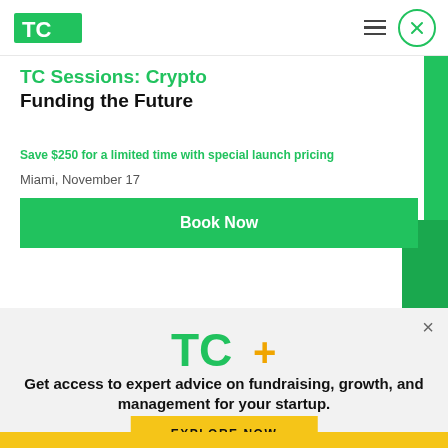TechCrunch (TC) logo and navigation bar with hamburger menu and close button
TC Sessions: Crypto
Funding the Future
Save $250 for a limited time with special launch pricing
Miami, November 17
Book Now
[Figure (logo): TC+ logo in green with orange plus sign]
Get access to expert advice on fundraising, growth, and management for your startup.
EXPLORE NOW
Yellow footer bar